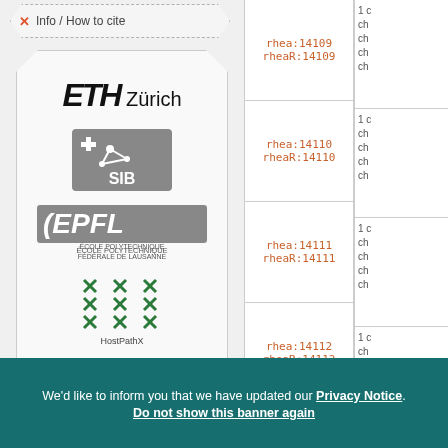Info / How to cite
[Figure (logo): ETH Zürich, SIB Swiss Institute of Bioinformatics, EPFL École Polytechnique Fédérale de Lausanne, and HostPathX logos]
| Rhea IDs | Partial right column |
| --- | --- |
| rhea:14109 / rheaR:14109 | 1 c ch ch ch ch |
| rhea:14110 / rheaR:14110 | 1 c ch ch ch ch |
| rhea:14111 / rheaR:14111 | 1 c ch ch ch ch |
| rhea:14112 / rheaR:14112 | 1 c ch ch ch ch |
We'd like to inform you that we have updated our Privacy Notice. Do not show this banner again